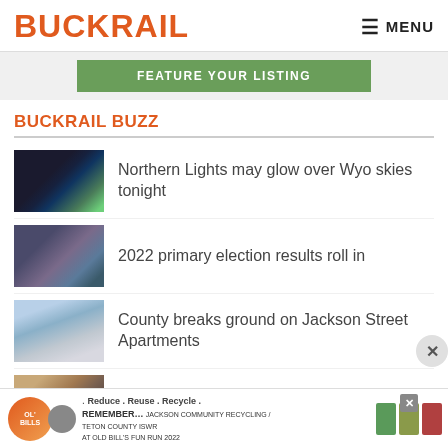BUCKRAIL   MENU
[Figure (screenshot): Green button: FEATURE YOUR LISTING]
BUCKRAIL BUZZ
Northern Lights may glow over Wyo skies tonight
2022 primary election results roll in
County breaks ground on Jackson Street Apartments
Cheney concedes, delivers post-primary remarks
Cheney ponders 2024 bid after losing Wyoming GOP
[Figure (infographic): Ad banner: Reduce. Reuse. Recycle. Remember... Jackson Community Recycling / Teton County ISWR at Old Bill's Fun Run 2022]